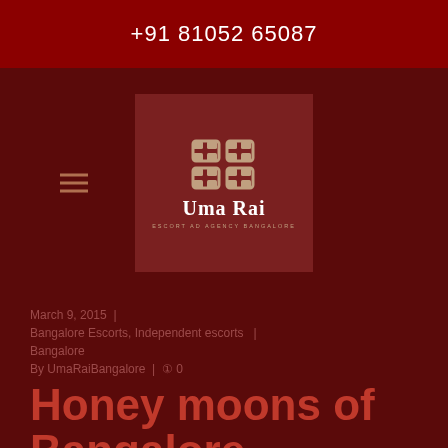+91 81052 65087
[Figure (logo): Uma Rai escort agency Bangalore logo with stylized icon and text]
March 9, 2015  |
Bangalore Escorts, Independent escorts Bangalore
By UmaRaiBangalore  |  ⓪ 0
Honey moons of Bangalore